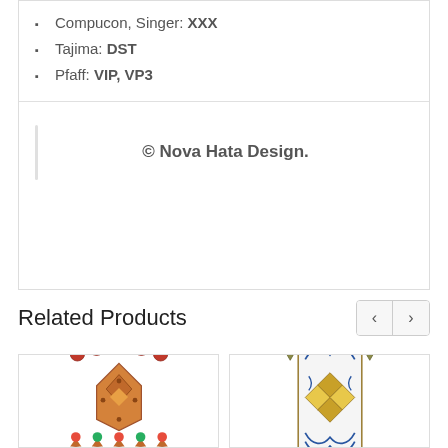Compucon, Singer: XXX
Tajima: DST
Pfaff: VIP, VP3
© Nova Hata Design.
Related Products
[Figure (illustration): Embroidery design with red flowers and decorative arch pattern in orange and pink]
[Figure (illustration): Embroidery design with geometric ornamental pattern in olive, blue, and gold]